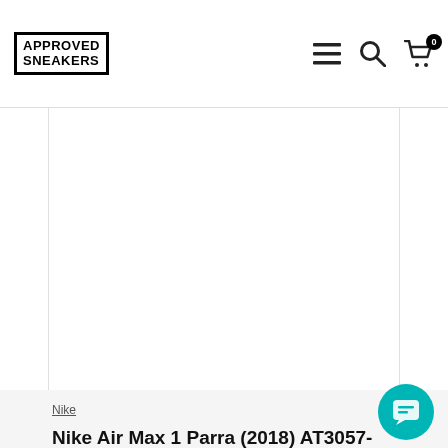Approved Sneakers
[Figure (photo): Large white/blank product image area for Nike Air Max 1 Parra sneaker]
Nike
Nike Air Max 1 Parra (2018) AT3057-100